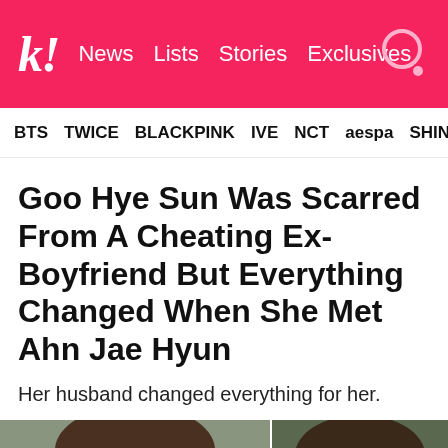k! News Lists Stories Exclusives
BTS TWICE BLACKPINK IVE NCT aespa SHINE
Goo Hye Sun Was Scarred From A Cheating Ex-Boyfriend But Everything Changed When She Met Ahn Jae Hyun
Her husband changed everything for her.
[Figure (photo): Side-by-side photos of a woman (left) and a man (right), both with brown hair, appearing to be Korean celebrities Goo Hye Sun and Ahn Jae Hyun]